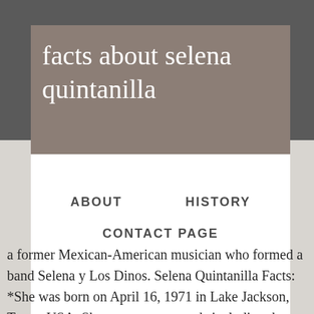facts about selena quintanilla
ABOUT
HISTORY
CONTACT PAGE
a former Mexican-American musician who formed a band Selena y Los Dinos. Selena Quintanilla Facts: *She was born on April 16, 1971 in Lake Jackson, Texas, USA. She won many awards including the Grammy. *She was